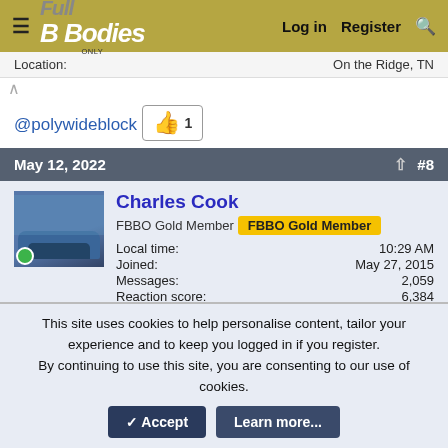FBBO - Full B Bodies Only | Log in | Register
Location: | On the Ridge, TN
@polywideblock
👍 1
May 12, 2022 #8
Charles Cook
FBBO Gold Member  FBBO Gold Member
Local time: 10:29 AM
Joined: May 27, 2015
Messages: 2,059
Reaction score: 6,384
Location: gaston south carolina
This site uses cookies to help personalise content, tailor your experience and to keep you logged in if you register.
By continuing to use this site, you are consenting to our use of cookies.
✓ Accept  Learn more...